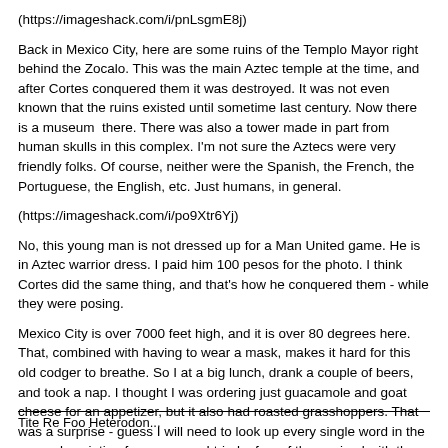(https://imageshack.com/i/pnLsgmE8j)
Back in Mexico City, here are some ruins of the Templo Mayor right behind the Zocalo. This was the main Aztec temple at the time, and after Cortes conquered them it was destroyed. It was not even known that the ruins existed until sometime last century. Now there is a museum  there. There was also a tower made in part from human skulls in this complex. I'm not sure the Aztecs were very friendly folks. Of course, neither were the Spanish, the French, the Portuguese, the English, etc. Just humans, in general.
(https://imageshack.com/i/po9Xtr6Yj)
No, this young man is not dressed up for a Man United game. He is in Aztec warrior dress. I paid him 100 pesos for the photo. I think Cortes did the same thing, and that's how he conquered them - while they were posing.
Mexico City is over 7000 feet high, and it is over 80 degrees here. That, combined with having to wear a mask, makes it hard for this old codger to breathe. So I at a big lunch, drank a couple of beers, and took a nap. I thought I was ordering just guacamole and goat cheese for an appetizer, but it also had roasted grasshoppers. That was a surprise - guess I will need to look up every single word in the menu description from now on. I tried a few of them mixed with the guac - tastes like chicken (not really, not much taste at all). That will be my only insect dish this trip.
Tite Re Foo Heterodon...